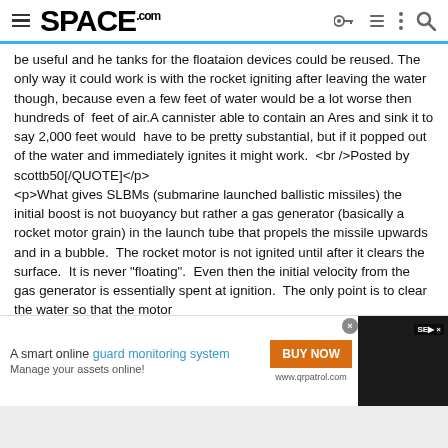SPACE.com
be useful and he tanks for the floataion devices could be reused. The only way it could work is with the rocket igniting after leaving the water though, because even a few feet of water would be a lot worse then hundreds of&nbsp; feet of air.A cannister able to contain an Ares and sink it to say 2,000 feet would&nbsp; have to be pretty substantial, but if it popped out of the water and immediately ignites it might work.&nbsp; <br />Posted by scottb50[/QUOTE]</p>
<p>What gives SLBMs (submarine launched ballistic missiles) the initial boost is not buoyancy but rather a gas generator (basically a rocket motor grain) in the launch tube that propels the missile upwards and in a bubble.&nbsp; The rocket motor is not ignited until after it clears the surface.&nbsp; It is never "floating".&nbsp; Even then the initial velocity from the gas generator is essentially spent at ignition.&nbsp; The only point is to clear the water so that the motor
[Figure (screenshot): Advertisement banner for qrpatrol.com guard monitoring system with BUY NOW button]